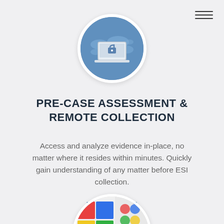[Figure (illustration): Circular icon with blue background showing a world map and a laptop with a lock, representing remote/secure access]
PRE-CASE ASSESSMENT & REMOTE COLLECTION
Access and analyze evidence in-place, no matter where it resides within minutes. Quickly gain understanding of any matter before ESI collection.
LEARN MORE
[Figure (photo): Partially visible circular image showing colorful media discs/objects, partially cropped at bottom of page]